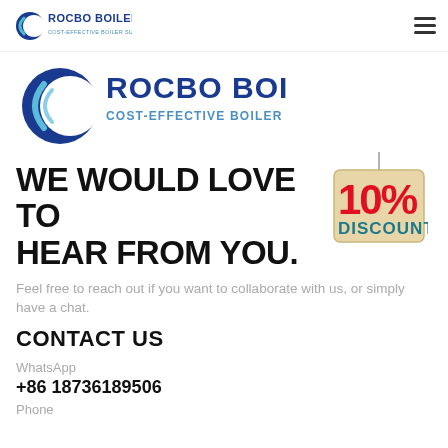ROCBO BOILER — COST-EFFECTIVE BOILER SUPPLIER (nav bar logo + hamburger)
[Figure (logo): Rocbo Boiler logo — large version with crescent C graphic, bold dark blue ROCBO BOILER text, subtitle COST-EFFECTIVE BOILER SUPPLIER]
WE WOULD LOVE TO HEAR FROM YOU.
[Figure (illustration): 10% DISCOUNT hanging tag badge in red and beige/tan colors]
Feel free to reach out if you want to collaborate with us, or simply have a chat.
CONTACT US
WhatsApp
+86 18736189506
Phone